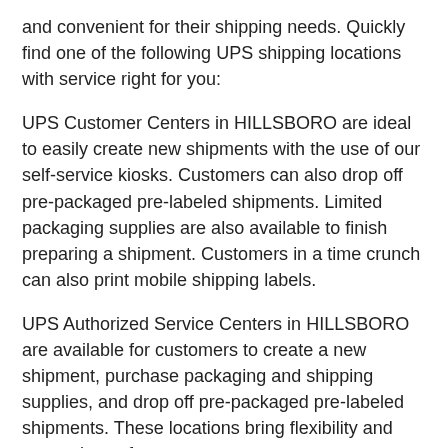and convenient for their shipping needs. Quickly find one of the following UPS shipping locations with service right for you:
UPS Customer Centers in HILLSBORO are ideal to easily create new shipments with the use of our self-service kiosks. Customers can also drop off pre-packaged pre-labeled shipments. Limited packaging supplies are also available to finish preparing a shipment. Customers in a time crunch can also print mobile shipping labels.
UPS Authorized Service Centers in HILLSBORO are available for customers to create a new shipment, purchase packaging and shipping supplies, and drop off pre-packaged pre-labeled shipments. These locations bring flexibility and convenience for our customers.
UPS Alliance Shipping Partners in HILLSBORO offer full-service shipping services. Customers are able to create a new shipment, pick up and drop off pre-packaged pre-